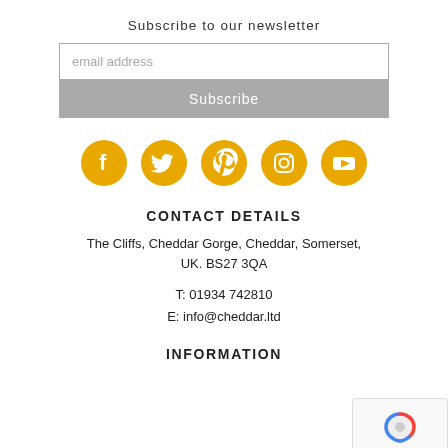Subscribe to our newsletter
email address
Subscribe
[Figure (infographic): Five golden circular social media icons in a row: Facebook, Twitter, Pinterest, Instagram, YouTube]
CONTACT DETAILS
The Cliffs, Cheddar Gorge, Cheddar, Somerset, UK. BS27 3QA
T: 01934 742810
E: info@cheddar.ltd
INFORMATION